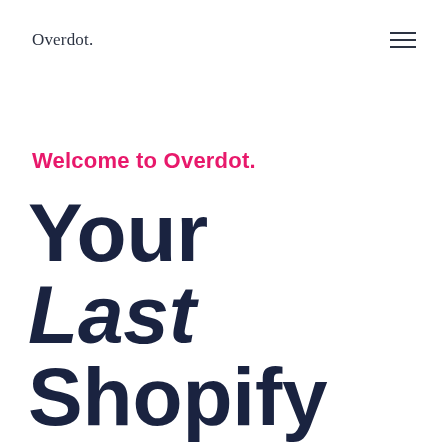Overdot.
Welcome to Overdot.
Your Last Shopify SEO